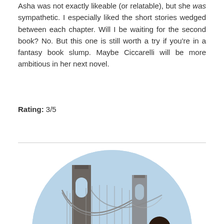Asha was not exactly likeable (or relatable), but she was sympathetic. I especially liked the short stories wedged between each chapter. Will I be waiting for the second book? No. But this one is still worth a try if you're in a fantasy book slump. Maybe Ciccarelli will be more ambitious in her next novel.
Rating: 3/5
[Figure (photo): Circular cropped photo of a person standing in front of the Brooklyn Bridge under a blue sky.]